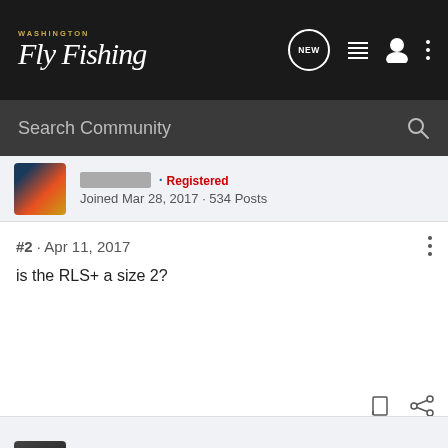Washington Fly Fishing
Search Community
Joined Mar 28, 2017 · 534 Posts
#2 · Apr 11, 2017
is the RLS+ a size 2?
Travis Cornell · Registered
Joined Oct 8, 2015 · 27 Posts